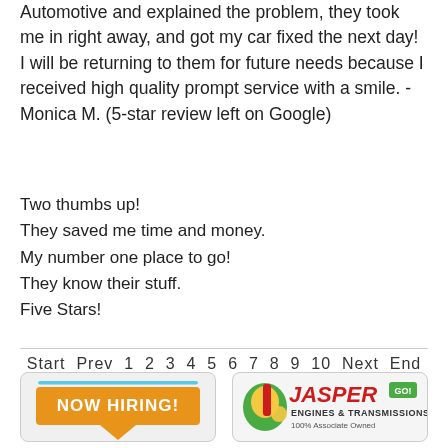Automotive and explained the problem, they took me in right away, and got my car fixed the next day! I will be returning to them for future needs because I received high quality prompt service with a smile. - Monica M. (5-star review left on Google)
Two thumbs up!
They saved me time and money.
My number one place to go!
They know their stuff.
Five Stars!
Start Prev 1 2 3 4 5 6 7 8 9 10 Next End
[Figure (infographic): NOW HIRING! banner in orange speech bubble shape with blue accent line]
[Figure (logo): Jasper Engines & Transmissions logo, 100% Associate Owned]